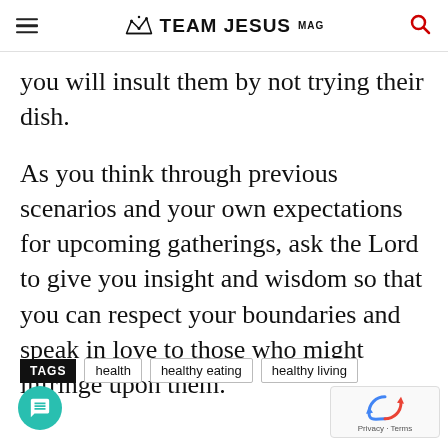TEAM JESUS MAG
you will insult them by not trying their dish.
As you think through previous scenarios and your own expectations for upcoming gatherings, ask the Lord to give you insight and wisdom so that you can respect your boundaries and speak in love to those who might infringe upon them.
TAGS  health  healthy eating  healthy living